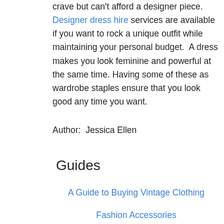crave but can't afford a designer piece. Designer dress hire services are available if you want to rock a unique outfit while maintaining your personal budget.  A dress makes you look feminine and powerful at the same time. Having some of these as wardrobe staples ensure that you look good any time you want.
Author:  Jessica Ellen
Guides
A Guide to Buying Vintage Clothing
Fashion Accessories